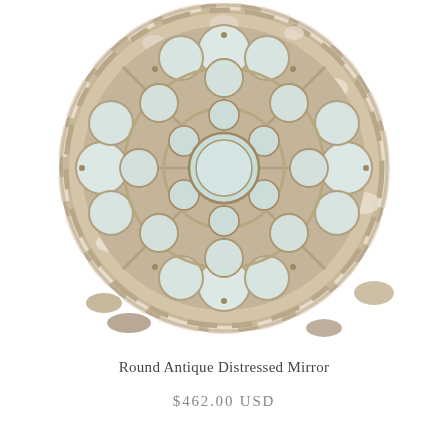[Figure (photo): Round antique distressed mirror with circular mirror segments arranged in concentric rings, set in a heavily distressed whitewash wooden frame with chipped and peeling paint revealing brown wood beneath.]
Round Antique Distressed Mirror
$462.00 USD